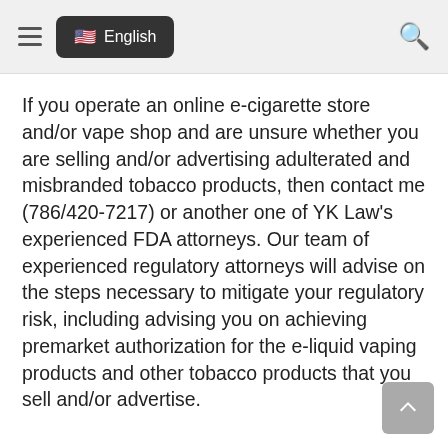English
If you operate an online e-cigarette store and/or vape shop and are unsure whether you are selling and/or advertising adulterated and misbranded tobacco products, then contact me (786/420-7217) or another one of YK Law's experienced FDA attorneys. Our team of experienced regulatory attorneys will advise on the steps necessary to mitigate your regulatory risk, including advising you on achieving premarket authorization for the e-liquid vaping products and other tobacco products that you sell and/or advertise.